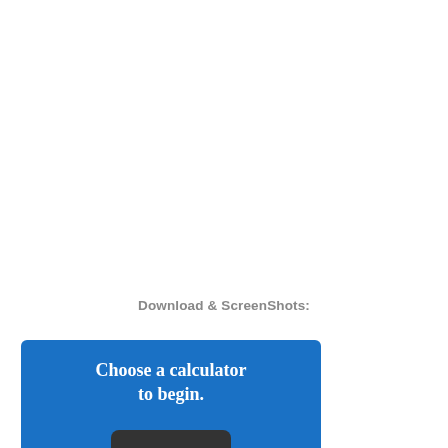Download & ScreenShots:
[Figure (screenshot): App screenshot showing a blue background with white text reading 'Choose a calculator to begin.' and a dark device element at the bottom]